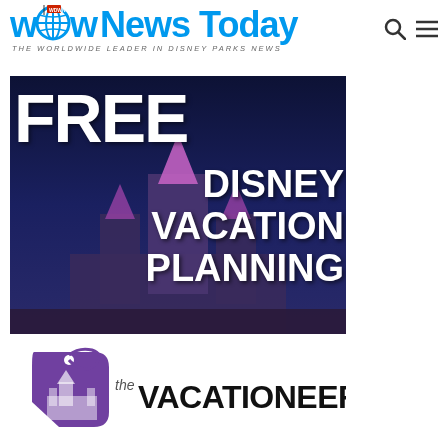WDW News Today — THE WORLDWIDE LEADER IN DISNEY PARKS NEWS
[Figure (photo): Promotional banner image showing Cinderella Castle at night with large white bold text reading FREE DISNEY VACATION PLANNING on a dark blue background]
[Figure (logo): The Vacationeer logo — purple tag/price-tag icon with castle silhouette and stylized text reading 'the VACATIONEER' in black serif font]